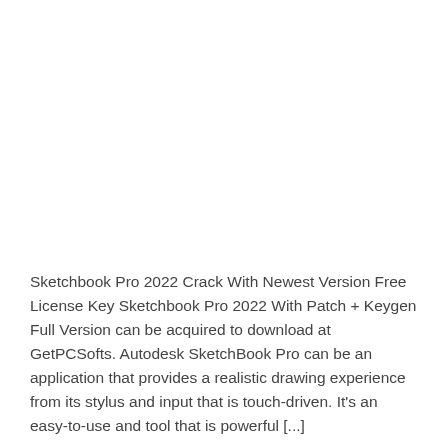Sketchbook Pro 2022 Crack With Newest Version Free License Key Sketchbook Pro 2022 With Patch + Keygen Full Version can be acquired to download at GetPCSofts. Autodesk SketchBook Pro can be an application that provides a realistic drawing experience from its stylus and input that is touch-driven. It's an easy-to-use and tool that is powerful [...]